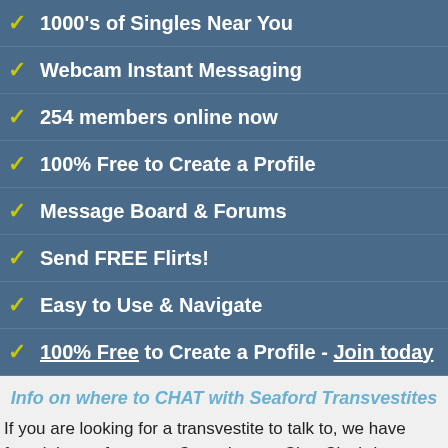1000's of Singles Near You
Webcam Instant Messaging
254 members online now
100% Free to Create a Profile
Message Board & Forums
Send FREE Flirts!
Easy to Use & Navigate
100% Free to Create a Profile - Join today
Info on where to CHAT with Seaford Transvestites
If you are looking for a transvestite to talk to, we have found the perfect spot. Crossdresser Chat City brings you the best looking transvestites in a safe, fun and friendly environment. It is always very active and always filled with exciting talk. So, if your looking to meet transvestites online